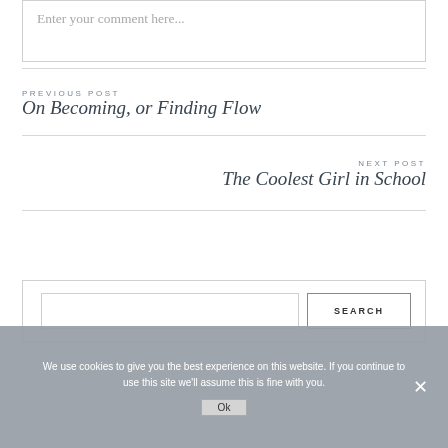Enter your comment here...
PREVIOUS POST
On Becoming, or Finding Flow
NEXT POST
The Coolest Girl in School
SEARCH
We use cookies to give you the best experience on this website. If you continue to use this site we'll assume this is fine with you.
Ok